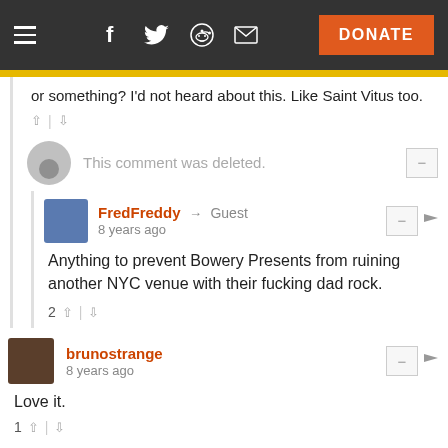Navigation bar with hamburger menu, social icons (Facebook, Twitter, Reddit, Email), and DONATE button
or something? I'd not heard about this. Like Saint Vitus too.
This comment was deleted.
FredFreddy → Guest
8 years ago
Anything to prevent Bowery Presents from ruining another NYC venue with their fucking dad rock.
2
brunostrange
8 years ago
Love it.
1
Sobertoad